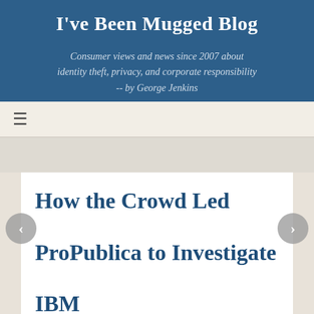I've Been Mugged Blog
Consumer views and news since 2007 about identity theft, privacy, and corporate responsibility -- by George Jenkins
[Figure (other): Hamburger menu icon (three horizontal lines)]
How the Crowd Led ProPublica to Investigate IBM